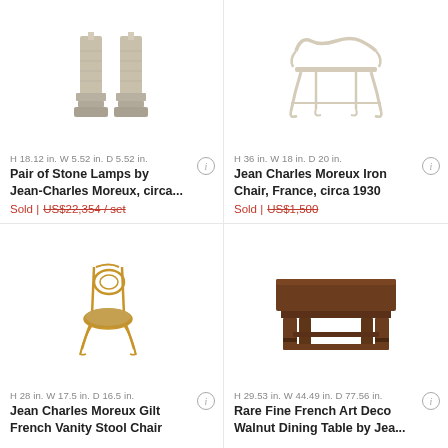[Figure (photo): Pair of stone pillar lamps]
H 18.12 in. W 5.52 in. D 5.52 in.
Pair of Stone Lamps by Jean-Charles Moreux, circa...
Sold | US$22,354 / set
[Figure (photo): Jean Charles Moreux Iron Chair, France, circa 1930]
H 36 in. W 18 in. D 20 in.
Jean Charles Moreux Iron Chair, France, circa 1930
Sold | US$1,500
[Figure (photo): Jean Charles Moreux Gilt French Vanity Stool Chair]
H 28 in. W 17.5 in. D 16.5 in.
Jean Charles Moreux Gilt French Vanity Stool Chair
[Figure (photo): Rare Fine French Art Deco Walnut Dining Table by Jea...]
H 29.53 in. W 44.49 in. D 77.56 in.
Rare Fine French Art Deco Walnut Dining Table by Jea...